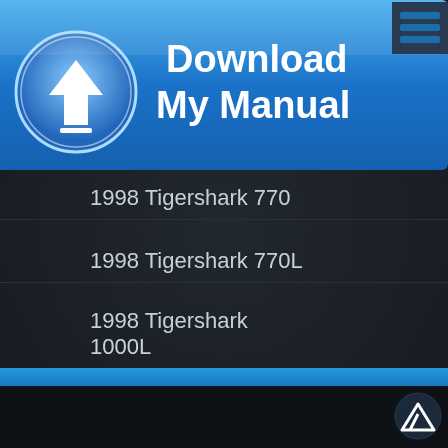[Figure (screenshot): Download My Manual button with blue background, download arrow icon, and hamburger menu icon in top-right corner]
1998 Tigershark 640L
1998 Tigershark 700R
1998 Tigershark 770
1998 Tigershark 770L
1998 Tigershark 1000L
1998 Tigershark 1000R
Back to top